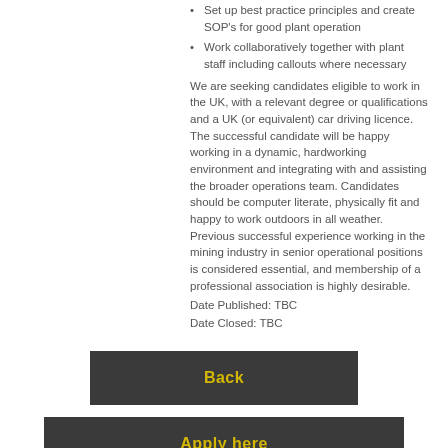Set up best practice principles and create SOP's for good plant operation
Work collaboratively together with plant staff including callouts where necessary
We are seeking candidates eligible to work in the UK, with a relevant degree or qualifications and a UK (or equivalent) car driving licence. The successful candidate will be happy working in a dynamic, hardworking environment and integrating with and assisting the broader operations team. Candidates should be computer literate, physically fit and happy to work outdoors in all weather. Previous successful experience working in the mining industry in senior operational positions is considered essential, and membership of a professional association is highly desirable.
Date Published: TBC
Date Closed: TBC
[Figure (other): Dark grey button labeled 'Back' in yellow bold text]
[Figure (other): Dark grey button labeled 'Apply here' in yellow bold text]